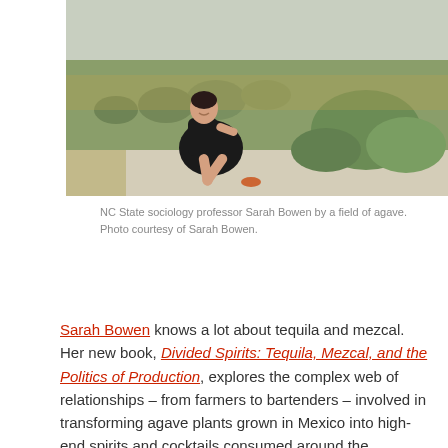[Figure (photo): NC State sociology professor Sarah Bowen sitting on a path beside a field of agave plants, wearing a black dress and orange sandals. Photo taken outdoors in a sunny, arid landscape.]
NC State sociology professor Sarah Bowen by a field of agave. Photo courtesy of Sarah Bowen.
Sarah Bowen knows a lot about tequila and mezcal. Her new book, Divided Spirits: Tequila, Mezcal, and the Politics of Production, explores the complex web of relationships – from farmers to bartenders – involved in transforming agave plants grown in Mexico into high-end spirits and cocktails consumed around the